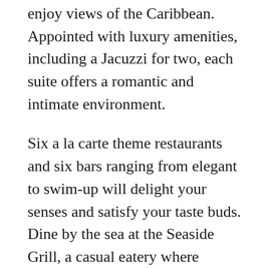enjoy views of the Caribbean. Appointed with luxury amenities, including a Jacuzzi for two, each suite offers a romantic and intimate environment.
Six a la carte theme restaurants and six bars ranging from elegant to swim-up will delight your senses and satisfy your taste buds. Dine by the sea at the Seaside Grill, a casual eatery where locally caught fish are grilled up for lunch and dinner. Indulge in a romantic, candlelit experience at Bordeaux, where French cuisine makes up the menu and guests all dress to impress.
Tee off at one of several world-class golf courses located near the resort or unwind with your spouse at